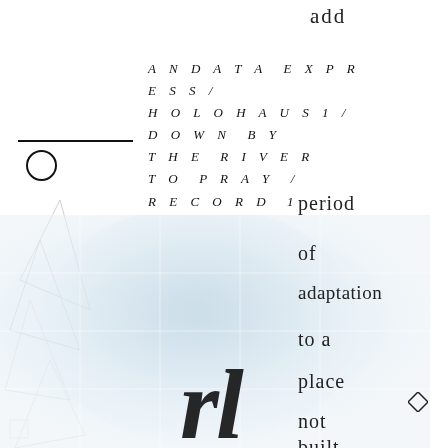add
ANDATA EXPRESS/ HOLOHAUS1/ DOWN BY THE RIVER TO PRAY / RECORD 1
[Figure (illustration): Decorative horizontal line with a circle below it on the left side]
[Figure (illustration): Geometric line drawing with triangular and angular shapes on the left side]
[Figure (photo): Blurred background photograph of a figure in light blue/white tones with a grid-like structural overlay]
period
of
adaptation
to a
place
not
built
for
your
kind
[Figure (illustration): Large stylized calligraphic letterforms in black overlaid at the bottom center-right]
[Figure (illustration): Small diamond/rhombus shape at bottom right]